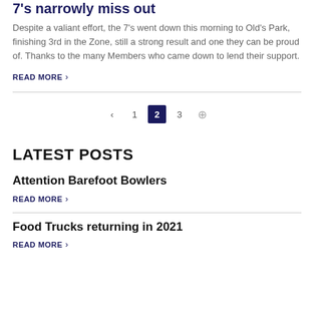7's narrowly miss out
Despite a valiant effort, the 7's went down this morning to Old's Park, finishing 3rd in the Zone, still a strong result and one they can be proud of.  Thanks to the many Members who came down to lend their support.
READ MORE >
< 1 2 3 +
LATEST POSTS
Attention Barefoot Bowlers
READ MORE >
Food Trucks returning in 2021
READ MORE >